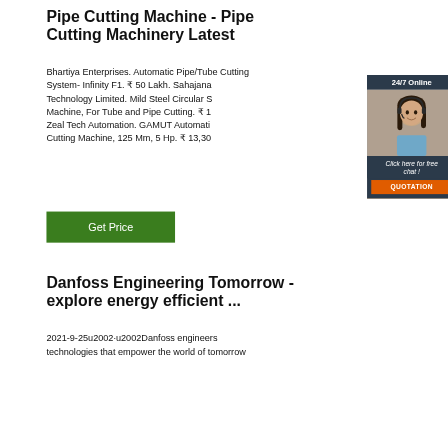Pipe Cutting Machine - Pipe Cutting Machinery Latest
Bhartiya Enterprises. Automatic Pipe/Tube Cutting System- Infinity F1. ₹ 50 Lakh. Sahajanand Technology Limited. Mild Steel Circular Saw Machine, For Tube and Pipe Cutting. ₹ 1... Zeal Tech Automation. GAMUT Automatic Pipe Cutting Machine, 125 Mm, 5 Hp. ₹ 13,30...
[Figure (photo): Customer service representative woman with headset, 24/7 Online chat widget with dark blue background, orange QUOTATION button]
Danfoss Engineering Tomorrow - explore energy efficient ...
2021-9-25u2002·u2002Danfoss engineers technologies that empower the world of tomorrow